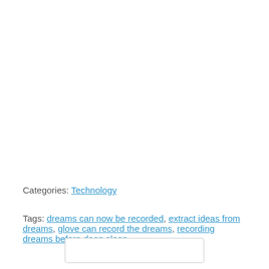Categories: Technology
Tags: dreams can now be recorded, extract ideas from dreams, glove can record the dreams, recording dreams before deep sleep